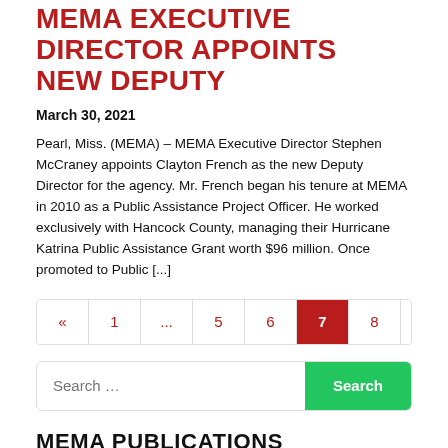MEMA EXECUTIVE DIRECTOR APPOINTS NEW DEPUTY
March 30, 2021
Pearl, Miss. (MEMA) – MEMA Executive Director Stephen McCraney appoints Clayton French as the new Deputy Director for the agency. Mr. French began his tenure at MEMA in 2010 as a Public Assistance Project Officer. He worked exclusively with Hancock County, managing their Hurricane Katrina Public Assistance Grant worth $96 million. Once promoted to Public [...]
Pagination: « 1 ... 5 6 7 8 9 ... 22 »
Search ...
MEMA PUBLICATIONS
2022 Disaster Guide
Annual Report 2021